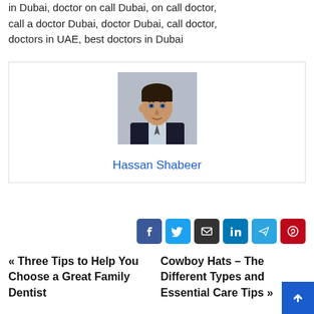in Dubai, doctor on call Dubai, on call doctor, call a doctor Dubai, doctor Dubai, call doctor, doctors in UAE, best doctors in Dubai
[Figure (photo): Headshot photo of Hassan Shabeer, a young man in a dark suit with a light shirt and tie, against a grey background]
Hassan Shabeer
[Figure (infographic): Social share buttons: Facebook, Twitter, Email, LinkedIn, Telegram, Pinterest]
« Three Tips to Help You Choose a Great Family Dentist
Cowboy Hats – The Different Types and Essential Care Tips »